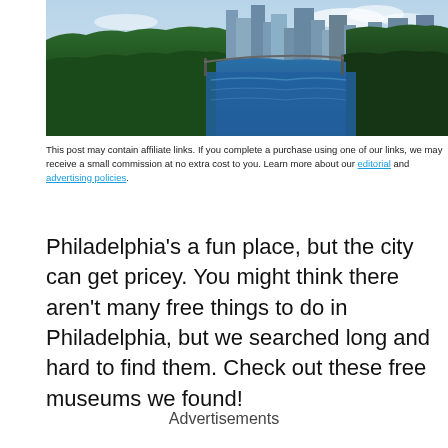[Figure (photo): Aerial photo of Philadelphia skyline with a river and green trees in the foreground, city buildings in the background under a partly cloudy sky]
This post may contain affiliate links. If you complete a purchase using one of our links, we may receive a small commission at no extra cost to you. Learn more about our editorial and advertising policies.
Philadelphia’s a fun place, but the city can get pricey. You might think there aren’t many free things to do in Philadelphia, but we searched long and hard to find them. Check out these free museums we found!
Advertisements